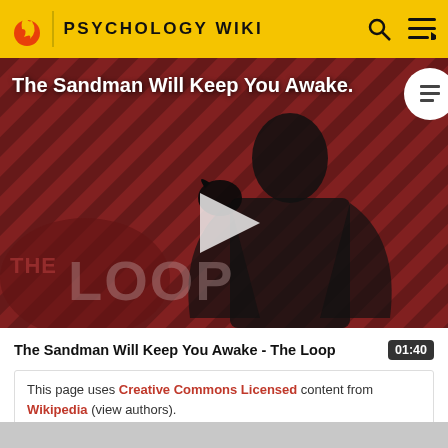PSYCHOLOGY WIKI
[Figure (screenshot): Video thumbnail for 'The Sandman Will Keep You Awake - The Loop' showing a dark-caped figure against a red diagonal-striped background with 'THE LOOP' text overlay and a play button]
The Sandman Will Keep You Awake - The Loop  01:40
This page uses Creative Commons Licensed content from Wikipedia (view authors).